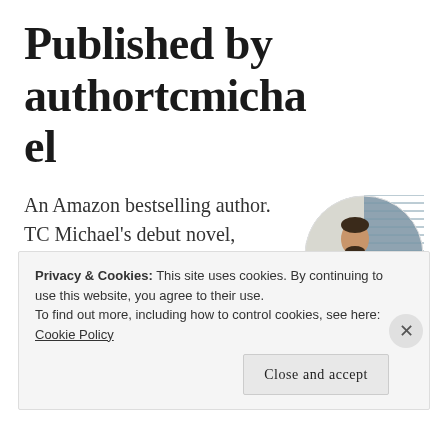Published by authortcmichael
An Amazon bestselling author. TC Michael's debut novel, Secret of the Last Born, has spent 45+ days on multiple bestsellers lists. TC Michael was born or raised in small town…
[Figure (photo): Circular profile photo of a man standing outdoors, wearing a dark red plaid shirt and jeans, against a blurred background of a blue wall.]
Privacy & Cookies: This site uses cookies. By continuing to use this website, you agree to their use.
To find out more, including how to control cookies, see here: Cookie Policy
Close and accept